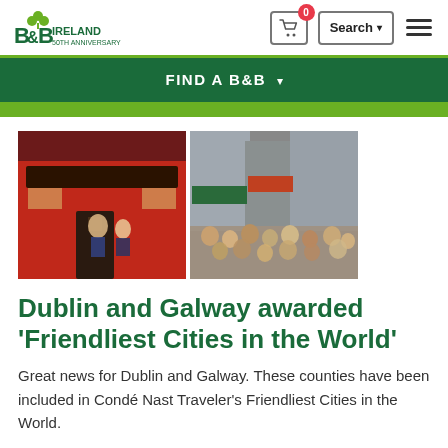B&B Ireland 50th Anniversary
[Figure (screenshot): B&B Ireland logo with shamrock and '50th Anniversary' text]
FIND A B&B ▾
[Figure (photo): Two side-by-side photos: left shows a red Irish pub storefront with people outside; right shows a crowded pedestrian street in an Irish town]
Dublin and Galway awarded 'Friendliest Cities in the World'
Great news for Dublin and Galway. These counties have been included in Condé Nast Traveler's Friendliest Cities in the World.